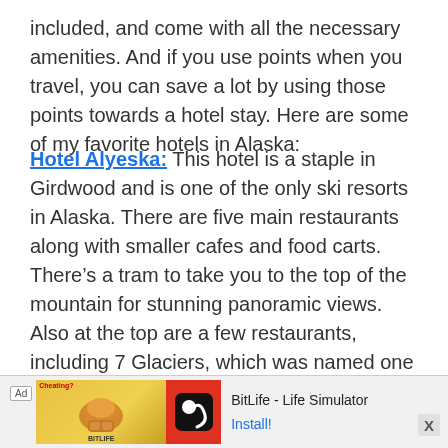included, and come with all the necessary amenities. And if you use points when you travel, you can save a lot by using those points towards a hotel stay. Here are some of my favorite hotels in Alaska:
Hotel Alyeska: This hotel is a staple in Girdwood and is one of the only ski resorts in Alaska. There are five main restaurants along with smaller cafes and food carts. There's a tram to take you to the top of the mountain for stunning panoramic views. Also at the top are a few restaurants, including 7 Glaciers, which was named one of America's top wine restaurants in 2019. The hotel has a pool area and spa, and they are opening a beautiful Nordic Spa, the first of its kind in Alaska.
[Figure (other): Advertisement banner for BitLife - Life Simulator app with Ad label, muscle graphic on yellow background, red block with white sperm logo, and Install button]